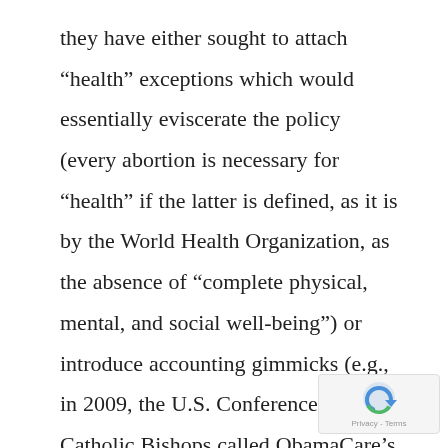they have either sought to attach “health” exceptions which would essentially eviscerate the policy (every abortion is necessary for “health” if the latter is defined, as it is by the World Health Organization, as the absence of “complete physical, mental, and social well-being”) or introduce accounting gimmicks (e.g., in 2009, the U.S. Conference of Catholic Bishops called ObamaCare’s roundabout way of funding abortion “a legal fiction, a paper separation between federal funding and abortion”). With former Michigan congressm…